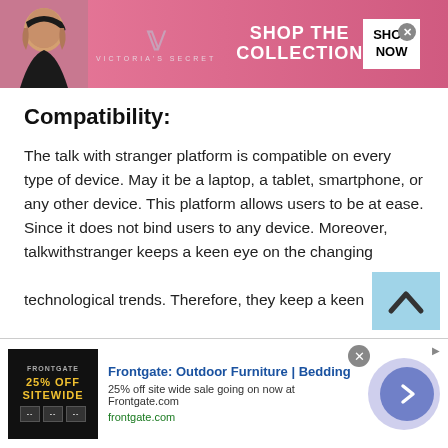[Figure (screenshot): Victoria's Secret advertisement banner with pink background, model photo on left, VS logo, 'SHOP THE COLLECTION' text, and 'SHOP NOW' button]
Compatibility:
The talk with stranger platform is compatible on every type of device. May it be a laptop, a tablet, smartphone, or any other device. This platform allows users to be at ease. Since it does not bind users to any device. Moreover, talkwithstranger keeps a keen eye on the changing technological trends. Therefore, they keep a keen
[Figure (screenshot): Frontgate outdoor furniture advertisement with dark image showing '25% OFF SITEWIDE' text, title 'Frontgate: Outdoor Furniture | Bedding', subtitle '25% off site wide sale going on now at Frontgate.com', and frontgate.com link]